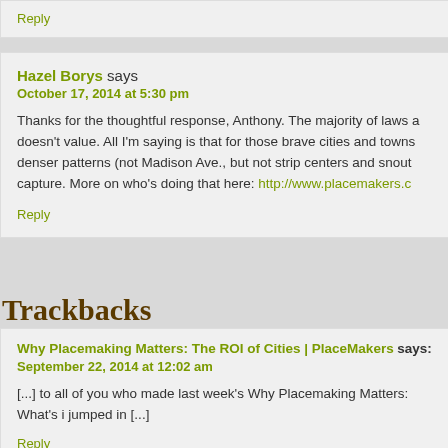Reply
Hazel Borys says
October 17, 2014 at 5:30 pm
Thanks for the thoughtful response, Anthony. The majority of laws a doesn't value. All I'm saying is that for those brave cities and towns denser patterns (not Madison Ave., but not strip centers and snout capture. More on who's doing that here: http://www.placemakers.c
Reply
Trackbacks
Why Placemaking Matters: The ROI of Cities | PlaceMakers says:
September 22, 2014 at 12:02 am
[...] to all of you who made last week's Why Placemaking Matters: What's i jumped in [...]
Reply